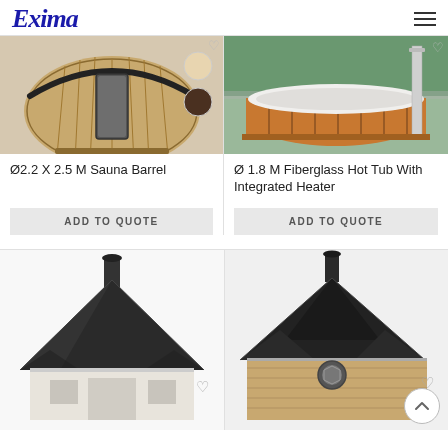Exima
[Figure (photo): Sauna barrel product image - circular wooden barrel sauna with glass door and color swatches]
[Figure (photo): Fiberglass hot tub with wooden surround and integrated heater chimney]
Ø2.2 X 2.5 M Sauna Barrel
Ø 1.8 M Fiberglass Hot Tub With Integrated Heater
ADD TO QUOTE
ADD TO QUOTE
[Figure (photo): Barbecue gazebo / grilling hut with dark pyramid roof and white walls]
[Figure (photo): Larger grilling cabin / sauna hut with dark multi-gabled roof and wooden exterior]